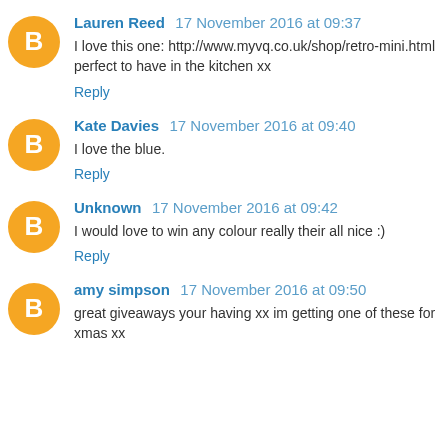Lauren Reed 17 November 2016 at 09:37
I love this one: http://www.myvq.co.uk/shop/retro-mini.html perfect to have in the kitchen xx
Reply
Kate Davies 17 November 2016 at 09:40
I love the blue.
Reply
Unknown 17 November 2016 at 09:42
I would love to win any colour really their all nice :)
Reply
amy simpson 17 November 2016 at 09:50
great giveaways your having xx im getting one of these for xmas xx